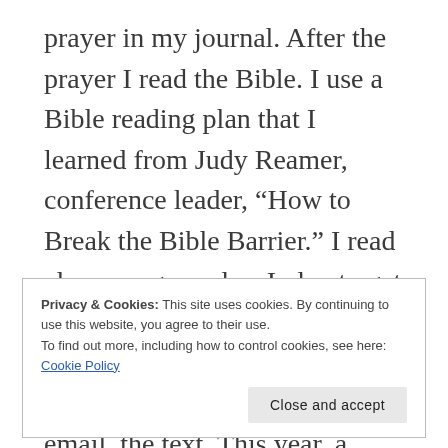prayer in my journal. After the prayer I read the Bible. I use a Bible reading plan that I learned from Judy Reamer, conference leader, “How to Break the Bible Barrier.” I read eleven pages a day. I plan to get as much of God’s Word in my head and heart as I can. I read the Bible before the paper, the email, the text. This year, a friend has joined me in this reading adventure, and we are sharing the things that
Privacy & Cookies: This site uses cookies. By continuing to use this website, you agree to their use.
To find out more, including how to control cookies, see here: Cookie Policy
weight loss and exercise. This group is